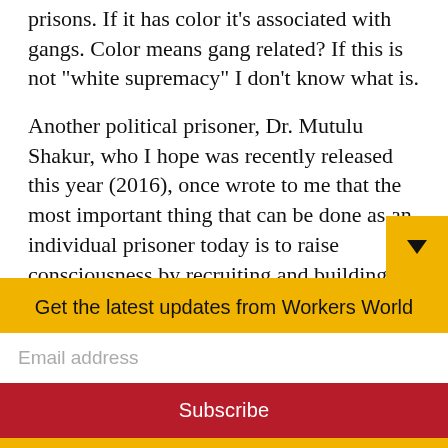prisons. If it has color it's associated with gangs. Color means gang related? If this is not "white supremacy" I don't know what is.

Another political prisoner, Dr. Mutulu Shakur, who I hope was recently released this year (2016), once wrote to me that the most important thing that can be done as an individual prisoner today is to raise consciousness by recruiting and building cadre. It is in this spirit that the New Black August Collective intends to erase the prevalent ignorance, disorganization
Get the latest updates from Workers World
Email address
Subscribe